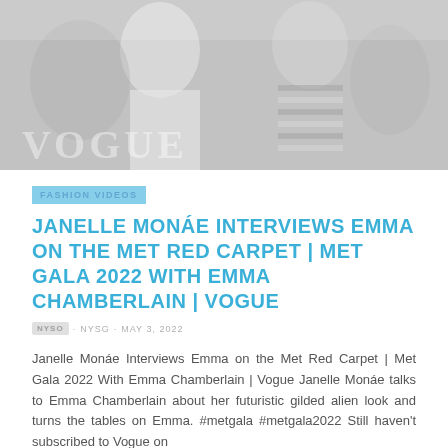[Figure (photo): Two women at Met Gala 2022 red carpet event, one in white outfit and one in striped outfit, with VOGUE watermark overlay]
FASHION VIDEOS
JANELLE MONÁE INTERVIEWS EMMA ON THE MET RED CARPET | MET GALA 2022 WITH EMMA CHAMBERLAIN | VOGUE
NYSO · NYSG · MAY 3, 2022
Janelle Monáe Interviews Emma on the Met Red Carpet | Met Gala 2022 With Emma Chamberlain | Vogue Janelle Monáe talks to Emma Chamberlain about her futuristic gilded alien look and turns the tables on Emma. #metgala #metgala2022 Still haven't subscribed to Vogue on